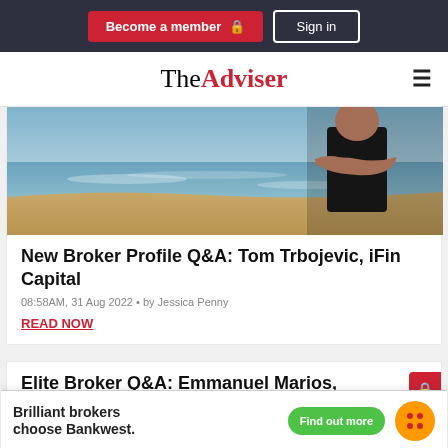Become a member  Sign in
TheAdviser
[Figure (photo): Person with arms crossed on a beach, wearing a black t-shirt]
New Broker Profile Q&A: Tom Trbojevic, iFin Capital
08:58AM, 31 Aug 2022 • by Jessica Penny
READ NOW
Elite Broker Q&A: Emmanuel Marios, Derwent Fina...
07:19AM, 29 Aug 2022 • by Jasmine Siljic
[Figure (infographic): Bankwest advertisement banner: Brilliant brokers choose Bankwest. Find out more.]